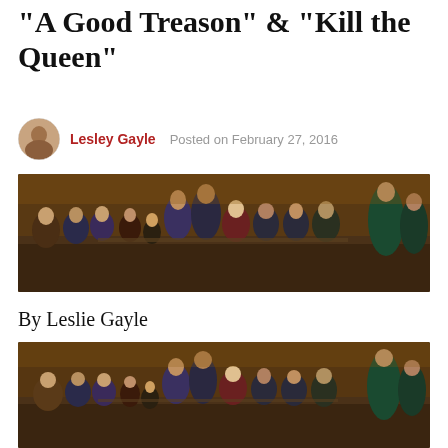“A Good Treason” & “Kill the Queen”
Lesley Gayle   Posted on February 27, 2016
[Figure (photo): Cast of Vikings seated at a long banquet table in medieval costumes against an ornate golden backdrop]
By Leslie Gayle
[Figure (photo): Same cast of Vikings seated at a long banquet table, slightly different crop, medieval costumes and ornate golden backdrop]